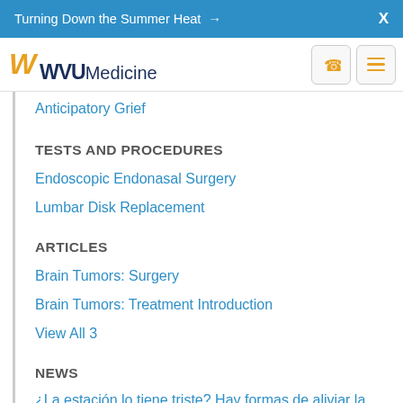Turning Down the Summer Heat →  X
[Figure (logo): WVU Medicine logo with golden flying WV and navy WVU Medicine text, phone icon button and hamburger menu icon button]
Anticipatory Grief
TESTS AND PROCEDURES
Endoscopic Endonasal Surgery
Lumbar Disk Replacement
ARTICLES
Brain Tumors: Surgery
Brain Tumors: Treatment Introduction
View All 3
NEWS
¿La estación lo tiene triste? Hay formas de aliviar la